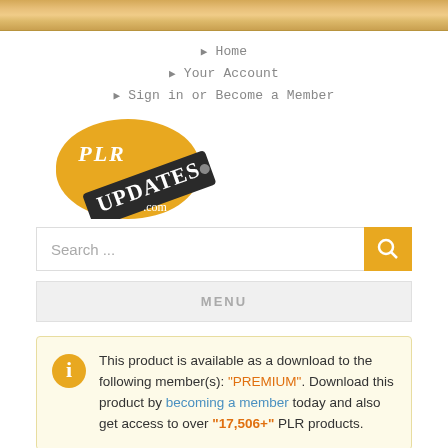Wood texture header bar
▶ Home
▶ Your Account
▶ Sign in or Become a Member
[Figure (logo): PLR Updates .com logo — orange semi-circle with 'PLR' text and a dark banner tag with 'UPDATES' and '.com']
Search ...
MENU
This product is available as a download to the following member(s): "PREMIUM". Download this product by becoming a member today and also get access to over "17,506+" PLR products.
European Travel PLR Article